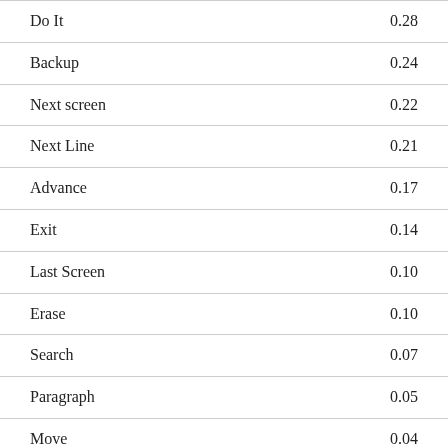|  |  |
| --- | --- |
| Do It | 0.28 |
| Backup | 0.24 |
| Next screen | 0.22 |
| Next Line | 0.21 |
| Advance | 0.17 |
| Exit | 0.14 |
| Last Screen | 0.10 |
| Erase | 0.10 |
| Search | 0.07 |
| Paragraph | 0.05 |
| Move | 0.04 |
| Cancel | 0.03 |